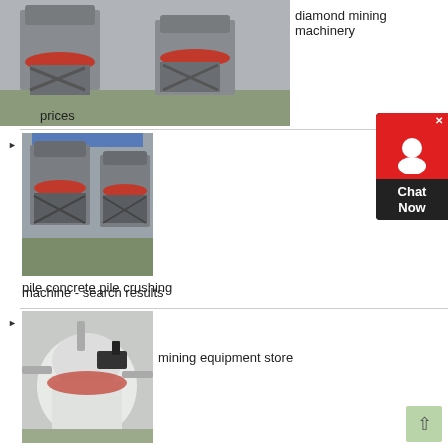[Figure (photo): Industrial cone crusher machines in a factory, gray metal frames with red rings, multiple units shown]
diamond mining machinery prices
[Figure (photo): Industrial cone crusher machines in a factory, similar to first image, gray with red rings]
pile concrete pile crushing machine - search results
[Figure (photo): White large industrial mining/crushing equipment with piping and machinery around it]
mining equipment store